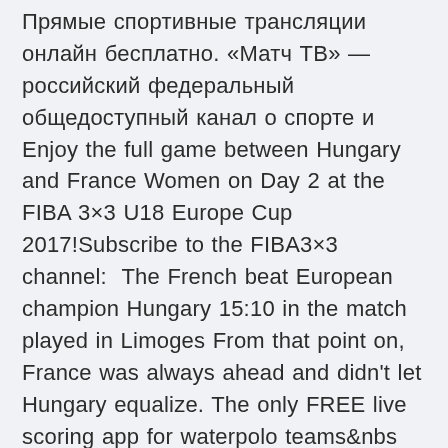Прямые спортивные трансляции онлайн бесплатно. «Матч ТВ» — российский федеральный общедоступный канал о спорте и  Enjoy the full game between Hungary and France Women on Day 2 at the FIBA 3×3 U18 Europe Cup 2017!Subscribe to the FIBA3×3 channel:  The French beat European champion Hungary 15:10 in the match played in Limoges From that point on, France was always ahead and didn't let Hungary equalize. The only FREE live scoring app for waterpolo teams&nbs The third game to be played in Group F is Hungary v France.